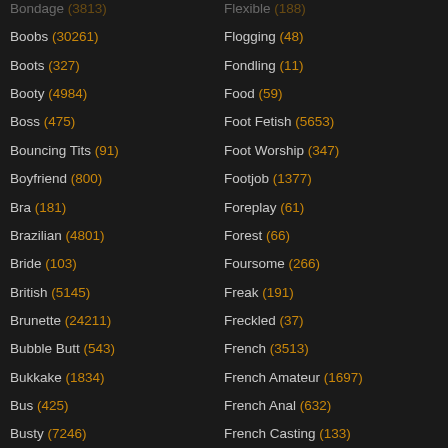Boobs (30261)
Boots (327)
Booty (4984)
Boss (475)
Bouncing Tits (91)
Boyfriend (800)
Bra (181)
Brazilian (4801)
Bride (103)
British (5145)
Brunette (24211)
Bubble Butt (543)
Bukkake (1834)
Bus (425)
Busty (7246)
Flexible (188)
Flogging (48)
Fondling (11)
Food (59)
Foot Fetish (5653)
Foot Worship (347)
Footjob (1377)
Foreplay (61)
Forest (66)
Foursome (266)
Freak (191)
Freckled (37)
French (3513)
French Amateur (1697)
French Anal (632)
French Casting (133)